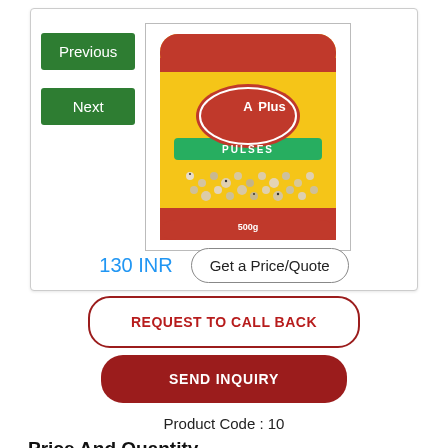[Figure (photo): A yellow packet of A+Plus brand Lobiya (black-eyed peas/pulses) with red and green accents, showing the beans visible through the packaging.]
Lobiya
130 INR
Get a Price/Quote
REQUEST TO CALL BACK
SEND INQUIRY
Product Code : 10
Price And Quantity